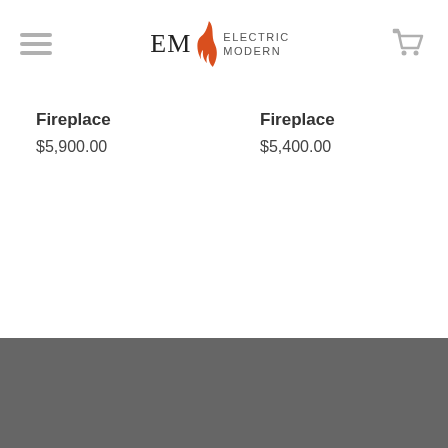[Figure (logo): Electric Modern (EMS) logo with flame icon and text ELECTRIC MODERN]
Fireplace
$5,900.00
Fireplace
$5,400.00